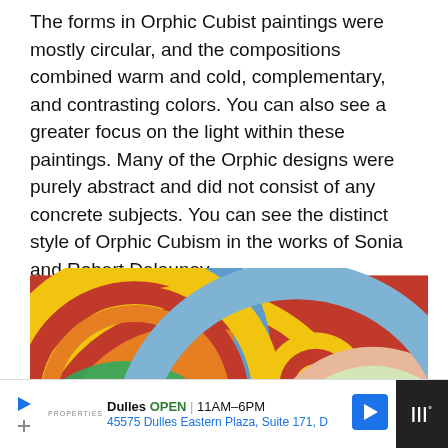The forms in Orphic Cubist paintings were mostly circular, and the compositions combined warm and cold, complementary, and contrasting colors. You can also see a greater focus on the light within these paintings. Many of the Orphic designs were purely abstract and did not consist of any concrete subjects. You can see the distinct style of Orphic Cubism in the works of Sonia and Robert Delaunay.
[Figure (photo): A colorful Orphic Cubist painting featuring overlapping concentric circles in warm and cool colors including red, orange, yellow, green, blue, and purple. Style associated with Robert or Sonia Delaunay.]
Dulles OPEN | 11AM–6PM 45575 Dulles Eastern Plaza, Suite 171, D